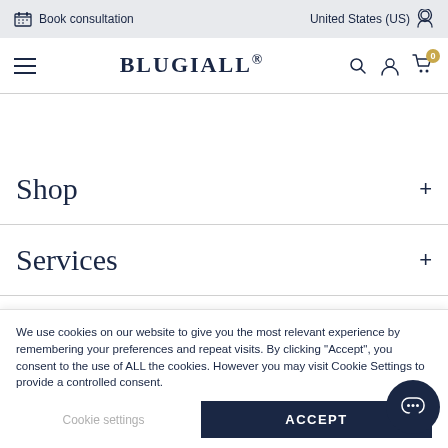Book consultation | United States (US)
BLUGIALLO®
Shop +
Services +
Get in touch +
We use cookies on our website to give you the most relevant experience by remembering your preferences and repeat visits. By clicking "Accept", you consent to the use of ALL the cookies. However you may visit Cookie Settings to provide a controlled consent.
Cookie settings | ACCEPT